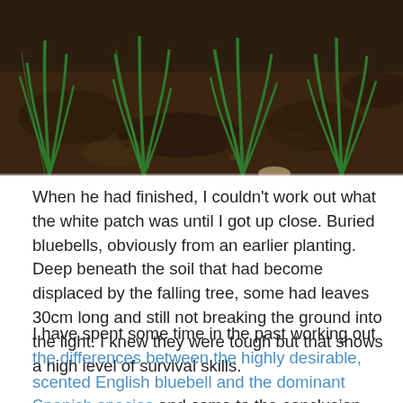[Figure (photo): Photograph of young green bluebell shoots growing from dark soil, showing several clusters of narrow green leaves emerging from the ground.]
When he had finished, I couldn't work out what the white patch was until I got up close. Buried bluebells, obviously from an earlier planting. Deep beneath the soil that had become displaced by the falling tree, some had leaves 30cm long and still not breaking the ground into the light.  I knew they were tough but that shows a high level of survival skills.
I have spent some time in the past working out the differences between the highly desirable, scented English bluebell and the dominant Spanish species and came to the conclusion that what we have are predominantly